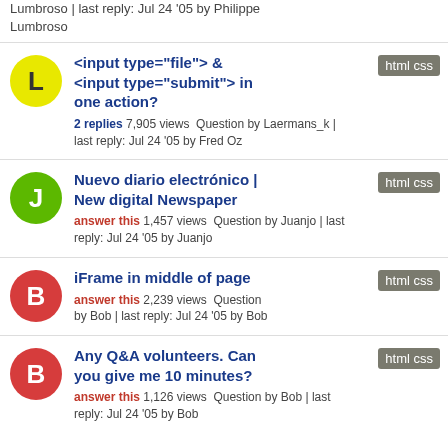Lumbroso | last reply: Jul 24 '05 by Philippe Lumbroso
<input type="file"> & <input type="submit"> in one action?
2 replies 7,905 views  Question by Laermans_k | last reply: Jul 24 '05 by Fred Oz
Nuevo diario electrónico | New digital Newspaper
answer this 1,457 views  Question by Juanjo | last reply: Jul 24 '05 by Juanjo
iFrame in middle of page
answer this 2,239 views  Question by Bob | last reply: Jul 24 '05 by Bob
Any Q&A volunteers. Can you give me 10 minutes?
answer this 1,126 views  Question by Bob | last reply: Jul 24 '05 by Bob